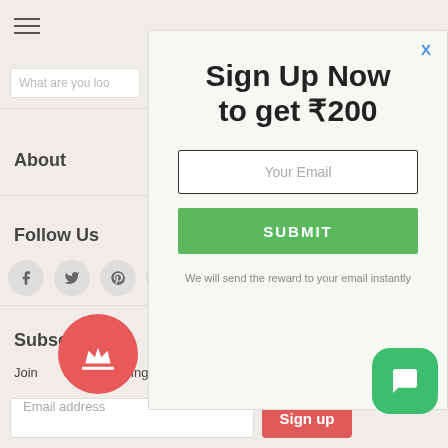[Figure (screenshot): Hamburger menu icon (three horizontal lines) in the top-left sidebar area]
What are you loo
About
Follow Us
[Figure (infographic): Social media icons row: Facebook, Twitter, Pinterest, Instagram (circular grey buttons)]
Subscribe
Join  eive gardening tips, offers, news & more
Email address
Sign up
Sign Up Now to get ₹200
Your Email
SUBMIT
We will send the reward to your email instantly
X